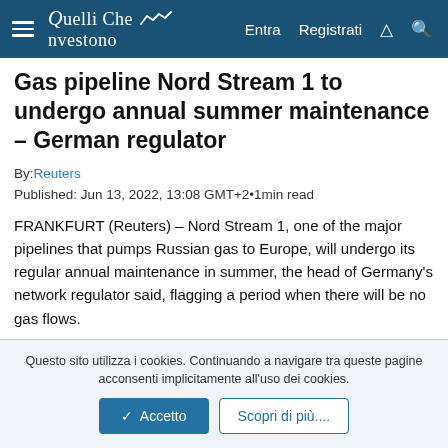Quelli Che Investono — Entra  Registrati
Gas pipeline Nord Stream 1 to undergo annual summer maintenance – German regulator
By: Reuters
Published: Jun 13, 2022, 13:08 GMT+2•1min read
FRANKFURT (Reuters) – Nord Stream 1, one of the major pipelines that pumps Russian gas to Europe, will undergo its regular annual maintenance in summer, the head of Germany's network regulator said, flagging a period when there will be no gas flows.
Bundesnetzagentur President Klaus Mueller said on Twitter that this implied that gas storage levels will stagnate for the
Questo sito utilizza i cookies. Continuando a navigare tra queste pagine acconsenti implicitamente all'uso dei cookies.